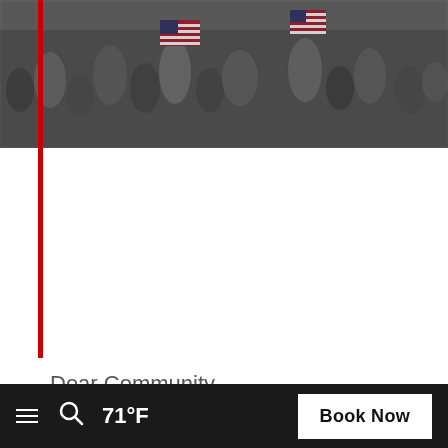[Figure (photo): Crowd of spectators at a ski event waving American flags, dark/muted tones, viewed from above]
Dear Community,
Now THAT was fun!
The 2017 Audi FIS Ski World Cup Finals are in the history books. We had the pleasure of watching nine thrilling races over five spectacular sunny days, with thousands of spectators enjoying
≡  🔍  71°F    Book Now